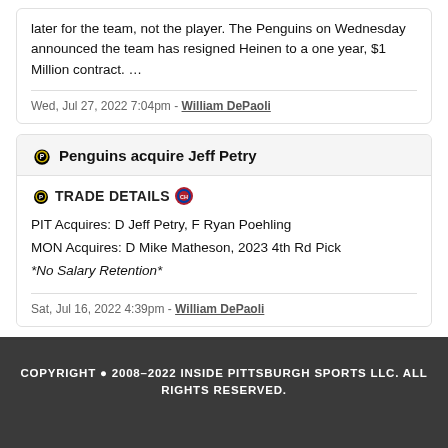later for the team, not the player. The Penguins on Wednesday announced the team has resigned Heinen to a one year, $1 Million contract. ...
Wed, Jul 27, 2022 7:04pm - William DePaoli
Penguins acquire Jeff Petry
TRADE DETAILS
PIT Acquires: D Jeff Petry, F Ryan Poehling
MON Acquires: D Mike Matheson, 2023 4th Rd Pick
*No Salary Retention*
Sat, Jul 16, 2022 4:39pm - William DePaoli
COPYRIGHT © 2008-2022 INSIDE PITTSBURGH SPORTS LLC. ALL RIGHTS RESERVED.